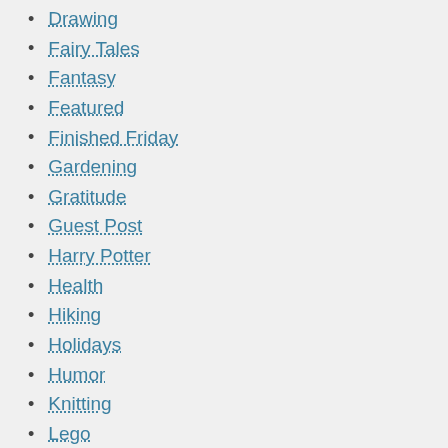Drawing
Fairy Tales
Fantasy
Featured
Finished Friday
Gardening
Gratitude
Guest Post
Harry Potter
Health
Hiking
Holidays
Humor
Knitting
Lego
Life Lessons
Lord of the Rings
Mammals
Miniatures